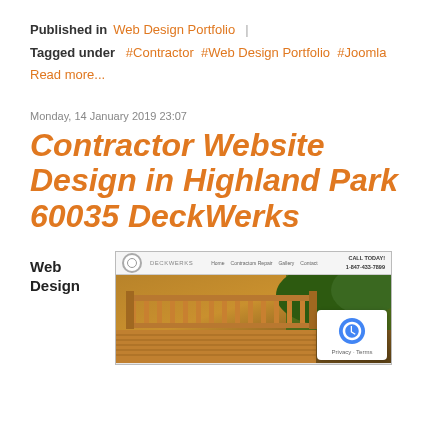Published in  Web Design Portfolio |
Tagged under  #Contractor  #Web Design Portfolio  #Joomla
Read more...
Monday, 14 January 2019 23:07
Contractor Website Design in Highland Park 60035 DeckWerks
Web Design
[Figure (screenshot): Screenshot of the DeckWerks website showing the homepage with navigation (Home, Contractors Repair, Gallery, Contact), phone number 1-847-433-7899, and a photo of a wooden deck with railing]